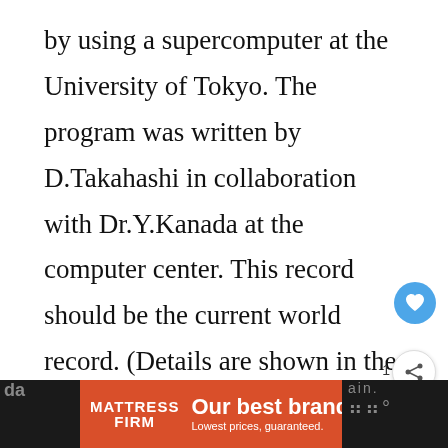by using a supercomputer at the University of Tokyo. The program was written by D.Takahashi in collaboration with Dr.Y.Kanada at the computer center. This record should be the current world record. (Details are shown in the windows help.) This record-breaking program was ported to personal computer environment such as Windows NT and Windows 95. In order to calculate 33.55 million digits, it takes with.
[Figure (infographic): Advertisement banner for Mattress Firm with red background: 'Our best brands. Lowest prices, guaranteed.' Partially overlaid on dark footer area. Includes play and close buttons.]